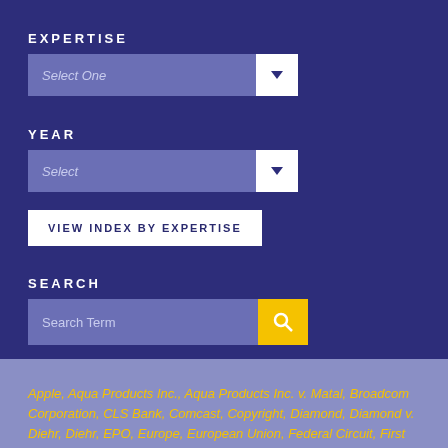EXPERTISE
[Figure (screenshot): Dropdown select field labeled 'Select One' with white arrow button]
YEAR
[Figure (screenshot): Dropdown select field labeled 'Select' with white arrow button]
VIEW INDEX BY EXPERTISE
SEARCH
[Figure (screenshot): Search input field with 'Search Term' placeholder and yellow search button]
Apple, Aqua Products Inc., Aqua Products Inc. v. Matal, Broadcom Corporation, CLS Bank, Comcast, Copyright, Diamond, Diamond v. Diehr, Diehr, EPO, Europe, European Union, Federal Circuit, First Quality Baby Products, Greene's Energy Group LLC, Helsinn Healthcare S.A., Helsinn Healthcare S.A. v. Teva Pharmaceuticals USA Inc., Hospira, Hospira Inc., Immersion, Impression ITC, Impression...